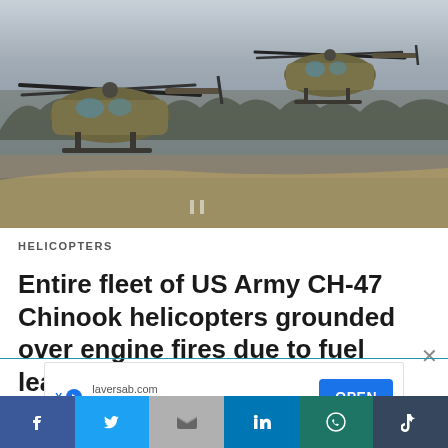[Figure (photo): Two CH-47 Chinook military helicopters on a runway/tarmac, one on the ground and one hovering, with bare trees in the background on an overcast day.]
HELICOPTERS
Entire fleet of US Army CH-47 Chinook helicopters grounded over engine fires due to fuel leaks
laversab.com Pitot Static Test Equipment OPEN
Facebook, Twitter, Gmail, LinkedIn, WhatsApp, Tumblr social share bar